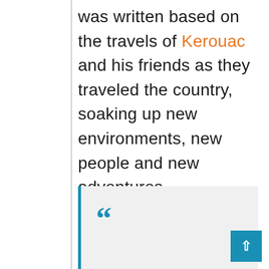was written based on the travels of Kerouac and his friends as they traveled the country, soaking up new environments, new people and new adventures.
““